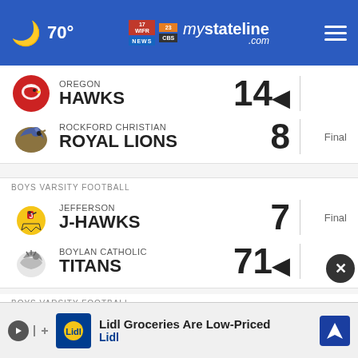70° mystateline.com
OREGON HAWKS 14 vs ROCKFORD CHRISTIAN ROYAL LIONS 8 - Final
BOYS VARSITY FOOTBALL - JEFFERSON J-HAWKS 7 vs BOYLAN CATHOLIC TITANS 71 - Final
BOYS VARSITY FOOTBALL - DIXON DUKES/DUCHESSES 21 vs NORTH BOONE - Final
Lidl Groceries Are Low-Priced - Lidl